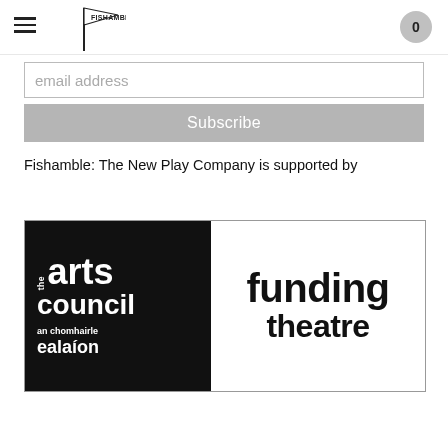Fishamble logo and navigation header with hamburger menu and cart icon showing 0
email address
Subscribe
Fishamble: The New Play Company is supported by
[Figure (logo): The Arts Council / An Chomhairle Ealaíon logo — black left panel with white text 'the arts council an chomhairle ealaíon' and white right panel with black text 'funding theatre']